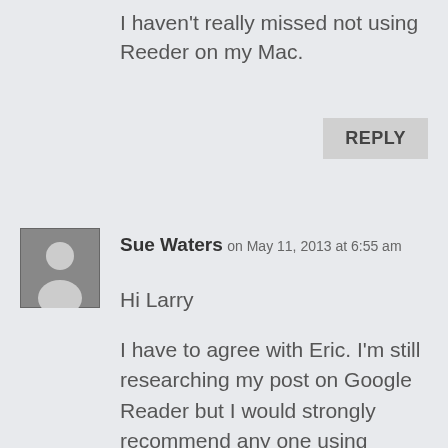I haven't really missed not using Reeder on my Mac.
REPLY
[Figure (illustration): User avatar placeholder icon — gray square with white silhouette of a person]
Sue Waters on May 11, 2013 at 6:55 am
Hi Larry
I have to agree with Eric. I'm still researching my post on Google Reader but I would strongly recommend any one using Google Reader downloads their subscriptions using Google Takeout so if any of these services have issues when Google Reader is retired you'll be able to easily switch between them.